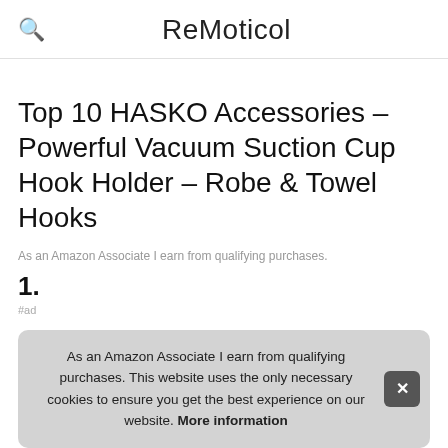ReMoticol
Top 10 HASKO Accessories – Powerful Vacuum Suction Cup Hook Holder – Robe & Towel Hooks
As an Amazon Associate I earn from qualifying purchases.
1.
#ad
As an Amazon Associate I earn from qualifying purchases. This website uses the only necessary cookies to ensure you get the best experience on our website. More information